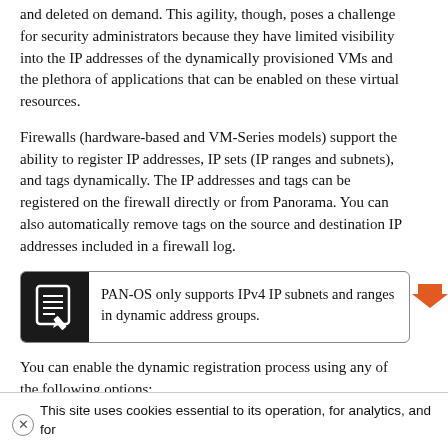and deleted on demand. This agility, though, poses a challenge for security administrators because they have limited visibility into the IP addresses of the dynamically provisioned VMs and the plethora of applications that can be enabled on these virtual resources.
Firewalls (hardware-based and VM-Series models) support the ability to register IP addresses, IP sets (IP ranges and subnets), and tags dynamically. The IP addresses and tags can be registered on the firewall directly or from Panorama. You can also automatically remove tags on the source and destination IP addresses included in a firewall log.
PAN-OS only supports IPv4 IP subnets and ranges in dynamic address groups.
You can enable the dynamic registration process using any of the following options:
User-ID agent for Windows—In an environment where you've deployed the User-ID agent, you can enable the
This site uses cookies essential to its operation, for analytics, and for